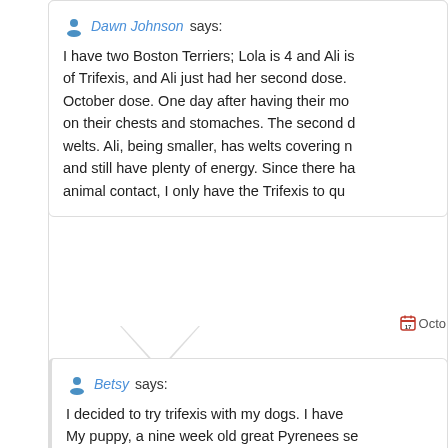Dawn Johnson says: I have two Boston Terriers; Lola is 4 and Ali is of Trifexis, and Ali just had her second dose. October dose. One day after having their mo on their chests and stomaches. The second d welts. Ali, being smaller, has welts covering n and still have plenty of energy. Since there ha animal contact, I only have the Trifexis to qu
Betsy says: I decided to try trifexis with my dogs. I have My puppy, a nine week old great Pyrenees se He acts fine. My schnauzer mix, Bo, who is 3 schnauzer, Brie, has a rash on her tummy, is licking her nose, so much that it has blisters year old schnauzer and my one year old lab